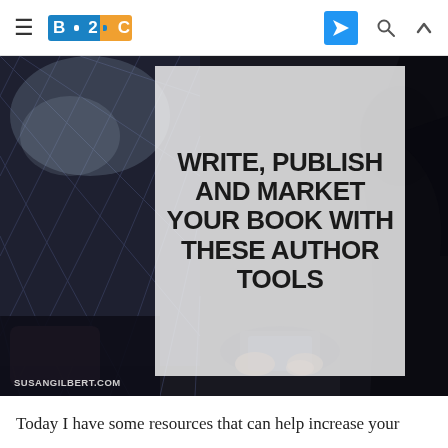B2C (Business 2 Community) navigation bar with logo, send icon, search icon, and up arrow
[Figure (photo): Dark moody photo of a person (woman) sitting near a window with diamond-patterned glass, looking at a phone/device, with a semi-transparent white overlay box containing bold uppercase text reading WRITE, PUBLISH AND MARKET YOUR BOOK WITH THESE AUTHOR TOOLS and a watermark SUSANGILBERT.COM at bottom left]
Today I have some resources that can help increase your